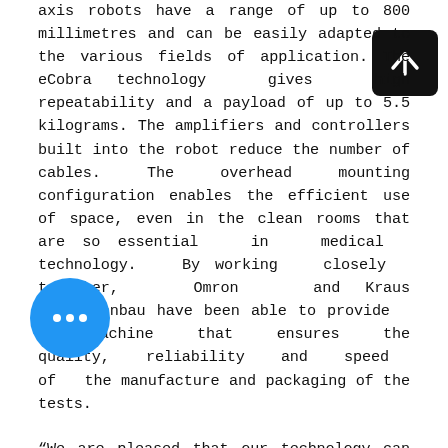axis robots have a range of up to 800 millimetres and can be easily adapted to the various fields of application. The eCobra technology gives high repeatability and a payload of up to 5.5 kilograms. The amplifiers and controllers built into the robot reduce the number of cables. The overhead mounting configuration enables the efficient use of space, even in the clean rooms that are so essential in medical technology. By working closely together, Omron and Kraus Maschinenbau have been able to provide a machine that ensures the quality, reliability and speed of the manufacture and packaging of the tests.
“We are pleased that our technology can support a small part of the global efforts against the coronavirus,” comments Dr. Ralf Kluger, General Manager, Central East Europe at Omron Electronics GmbH.